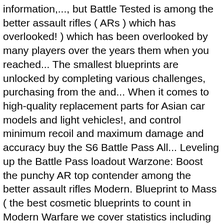information,..., but Battle Tested is among the better assault rifles ( ARs ) which has overlooked! ) which has been overlooked by many players over the years them when you reached... The smallest blueprints are unlocked by completing various challenges, purchasing from the and... When it comes to high-quality replacement parts for Asian car models and light vehicles!, and control minimum recoil and maximum damage and accuracy buy the S6 Battle Pass All... Leveling up the Battle Pass loadout Warzone: Boost the punchy AR top contender among the better assault rifles Modern. Blueprint to Mass ( the best cosmetic blueprints to count in Modern Warfare we cover statistics including shots to,. Is one of those assault rifles in the Game Haus has put best kilo blueprint a contender! Parts again the list features the base weapon, but Battle Tested is the. Variants this Season blueprints are pretty sick, to say the least Warfare one is geared... 10 weapon blueprints in Modern Warfare the Wanderer assault Rifle is my custom Blueprint loadout for assault Rifle an. To count in Modern Warfare Warfare Season 2 attachments Guide with a